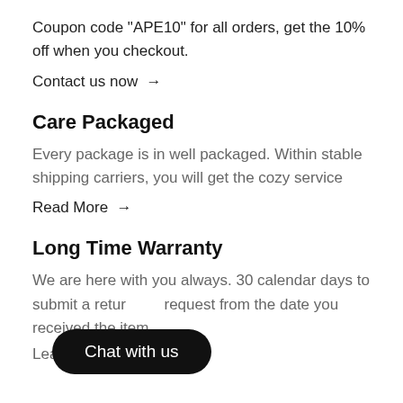Coupon code "APE10" for all orders, get the 10% off when you checkout.
Contact us now →
Care Packaged
Every package is in well packaged. Within stable shipping carriers, you will get the cozy service
Read More →
Long Time Warranty
We are here with you always. 30 calendar days to submit a return request from the date you received the item
Lea...
[Figure (other): Dark rounded rectangle button with white text reading 'Chat with us']